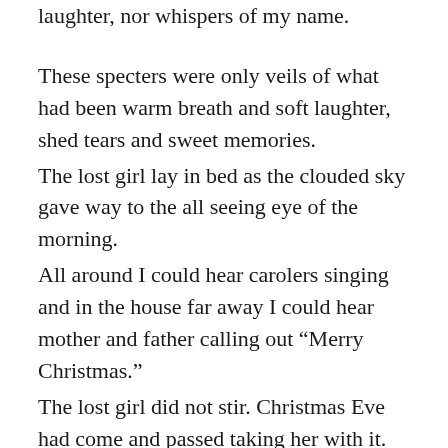laughter, nor whispers of my name.
These specters were only veils of what had been warm breath and soft laughter, shed tears and sweet memories.
The lost girl lay in bed as the clouded sky gave way to the all seeing eye of the morning.
All around I could hear carolers singing and in the house far away I could hear mother and father calling out “Merry Christmas.”
The lost girl did not stir. Christmas Eve had come and passed taking her with it.